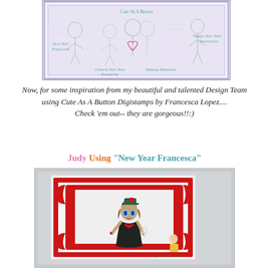[Figure (illustration): A digistamp sheet showing multiple cartoon girl characters with labels: 'Cute As A Button' at top, 'New Year Francesca' on left, 'Happy New Year – Martinellis' on right, 'Chinese New Year Prosperity' and 'Making Memories' at bottom center. Characters sketched in black and white with teal/green label text.]
Now, for some inspiration from my beautiful and talented Design Team
using Cute As A Button Digistamps by Francesca Lopez....
Check 'em out-- they are gorgeous!!:)
Judy Using "New Year Francesca"
[Figure (photo): A handmade greeting card featuring a large colored digistamp girl in a black dress with a red ornate decorative frame on a grey/silver background. The girl wears a festive hat and holds a champagne glass. A smaller figure appears at the bottom right. Signed 'Judy Orlando Van Lende'.]